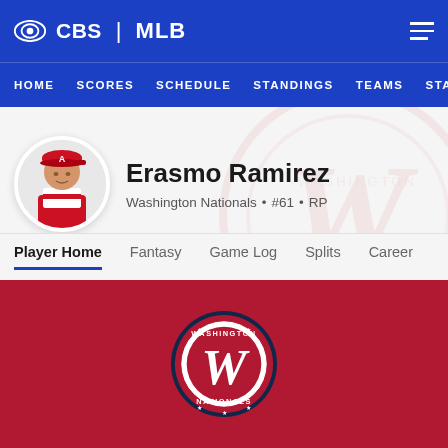CBS | MLB — HOME SCORES SCHEDULE STANDINGS TEAMS STATS
[Figure (screenshot): Player profile page for Erasmo Ramirez, Washington Nationals #61 RP, showing CBS MLB navigation, player photo, name, team info, tab navigation (Player Home, Fantasy, Game Log, Splits, Career), and red Washington Nationals logo section]
Erasmo Ramirez
Washington Nationals • #61 • RP
Player Home
Fantasy
Game Log
Splits
Career